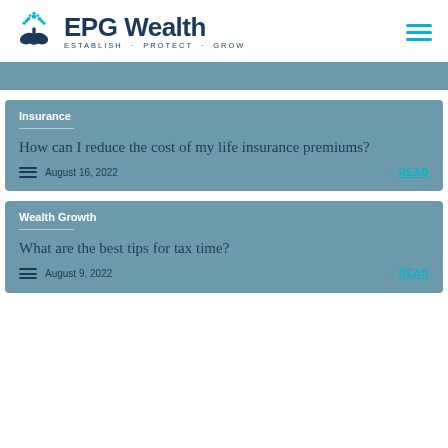[Figure (logo): EPG Wealth logo with tree icon and tagline ESTABLISH · PROTECT · GROW]
Insurance
How can I reduce the cost of my life insurance premiums?
August 16, 2022
Wealth Growth
What are the best tips for tax time?
August 9, 2022